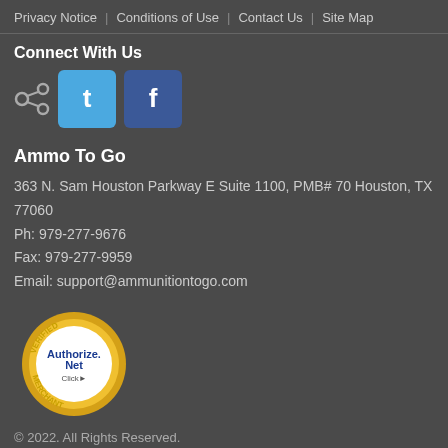Privacy Notice | Conditions of Use | Contact Us | Site Map
Connect With Us
[Figure (illustration): Social sharing icons: share icon, Twitter button with 't' logo, Facebook button with 'f' logo]
Ammo To Go
363 N. Sam Houston Parkway E Suite 1100, PMB# 70 Houston, TX 77060
Ph: 979-277-9676
Fax: 979-277-9959
Email: support@ammunitiontogo.com
[Figure (logo): Authorize.Net Verified Merchant badge - circular gold badge with blue Authorize.Net text and Click logo]
© 2022. All Rights Reserved.